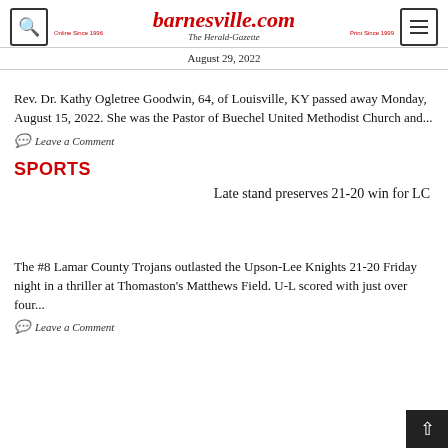barnesville.com — The Herald-Gazette — Online Since 1996 — Print Since 1899 — August 29, 2022
Rev. Dr. Kathy Ogletree Goodwin, 64, of Louisville, KY passed away Monday, August 15, 2022. She was the Pastor of Buechel United Methodist Church and...
Leave a Comment
SPORTS
Late stand preserves 21-20 win for LC
The #8 Lamar County Trojans outlasted the Upson-Lee Knights 21-20 Friday night in a thriller at Thomaston's Matthews Field. U-L scored with just over four...
Leave a Comment